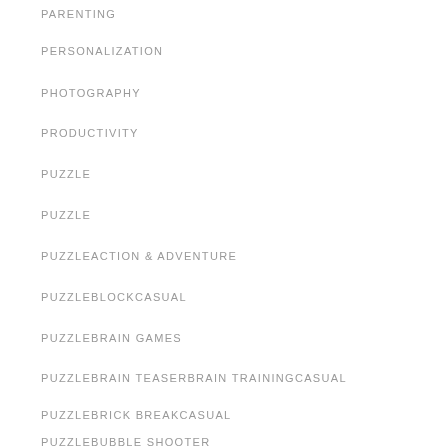PARENTING
PERSONALIZATION
PHOTOGRAPHY
PRODUCTIVITY
PUZZLE
PUZZLE
PUZZLEACTION & ADVENTURE
PUZZLEBLOCKCASUAL
PUZZLEBRAIN GAMES
PUZZLEBRAIN TEASERBRAIN TRAININGCASUAL
PUZZLEBRICK BREAKCASUAL
PUZZLEBUBBLE SHOOTER